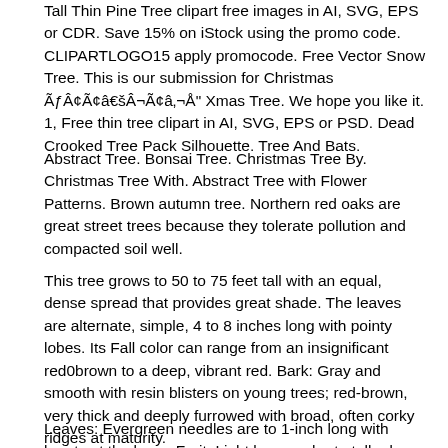Tall Thin Pine Tree clipart free images in AI, SVG, EPS or CDR. Save 15% on iStock using the promo code. CLIPARTLOGO15 apply promocode. Free Vector Snow Tree. This is our submission for Christmas ÃƒÂ¢Ã¢â€šÂ¬Ã¢â‚¬Å" Xmas Tree. We hope you like it. 1, Free thin tree clipart in AI, SVG, EPS or PSD. Dead Crooked Tree Pack Silhouette. Tree And Bats.
Abstract Tree. Bonsai Tree. Christmas Tree By. Christmas Tree With. Abstract Tree with Flower Patterns. Brown autumn tree. Northern red oaks are great street trees because they tolerate pollution and compacted soil well.
This tree grows to 50 to 75 feet tall with an equal, dense spread that provides great shade. The leaves are alternate, simple, 4 to 8 inches long with pointy lobes. Its Fall color can range from an insignificant red0brown to a deep, vibrant red. Bark: Gray and smooth with resin blisters on young trees; red-brown, very thick and deeply furrowed with broad, often corky ridges at maturity.
Leaves: Evergreen needles are to 1-inch long with bracts at the base. Fruit: Light brown, short-stalked cones that hang down from the branches; /3 to 3 inches long; many thin, rounded cone scales